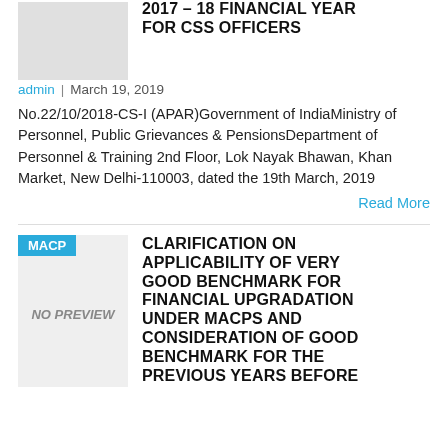2017 – 18 FINANCIAL YEAR FOR CSS OFFICERS
admin | March 19, 2019
No.22/10/2018-CS-I (APAR)Government of IndiaMinistry of Personnel, Public Grievances & PensionsDepartment of Personnel & Training 2nd Floor, Lok Nayak Bhawan, Khan Market, New Delhi-110003, dated the 19th March, 2019
Read More
CLARIFICATION ON APPLICABILITY OF VERY GOOD BENCHMARK FOR FINANCIAL UPGRADATION UNDER MACPS AND CONSIDERATION OF GOOD BENCHMARK FOR THE PREVIOUS YEARS BEFORE